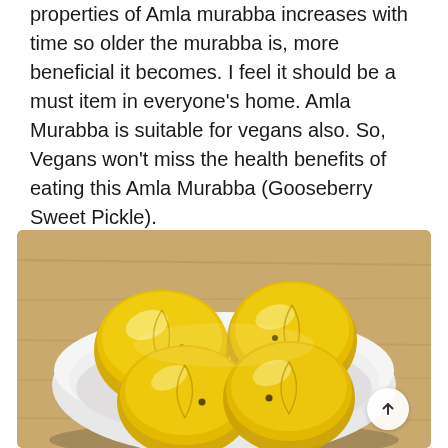properties of Amla murabba increases with time so older the murabba is, more beneficial it becomes. I feel it should be a must item in everyone's home. Amla Murabba is suitable for vegans also. So, Vegans won't miss the health benefits of eating this Amla Murabba (Gooseberry Sweet Pickle).
[Figure (photo): A white bowl viewed from above containing four glossy golden-yellow amla (gooseberry) pieces preserved in sweet syrup, placed on a light wooden surface. A circular scroll-to-top button with an upward arrow is visible in the bottom-right corner.]